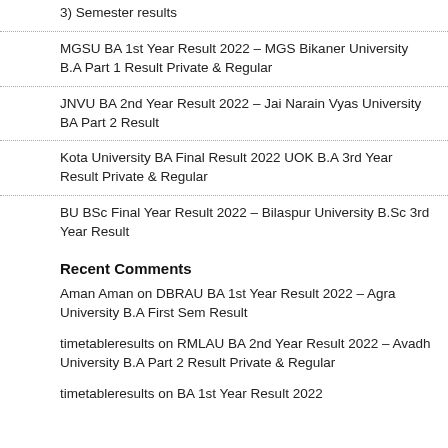3) Semester results
MGSU BA 1st Year Result 2022 – MGS Bikaner University B.A Part 1 Result Private & Regular
JNVU BA 2nd Year Result 2022 – Jai Narain Vyas University BA Part 2 Result
Kota University BA Final Result 2022 UOK B.A 3rd Year Result Private & Regular
BU BSc Final Year Result 2022 – Bilaspur University B.Sc 3rd Year Result
Recent Comments
Aman Aman on DBRAU BA 1st Year Result 2022 – Agra University B.A First Sem Result
timetableresults on RMLAU BA 2nd Year Result 2022 – Avadh University B.A Part 2 Result Private & Regular
timetableresults on BA 1st Year Result 2022